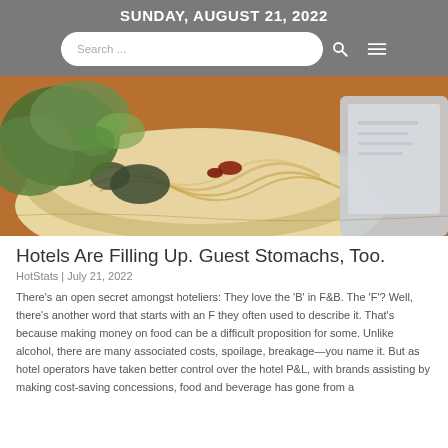SUNDAY, AUGUST 21, 2022
[Figure (photo): Close-up photo of a bowl of noodles with greens and toppings on a wooden table, with a tablet or menu partially visible on the right side.]
Hotels Are Filling Up. Guest Stomachs, Too.
HotStats | July 21, 2022
There’s an open secret amongst hoteliers: They love the ‘B’ in F&B. The ‘F’? Well, there’s another word that starts with an F they often used to describe it. That’s because making money on food can be a difficult proposition for some. Unlike alcohol, there are many associated costs, spoilage, breakage—you name it. But as hotel operators have taken better control over the hotel P&L, with brands assisting by making cost-saving concessions, food and beverage has gone from a